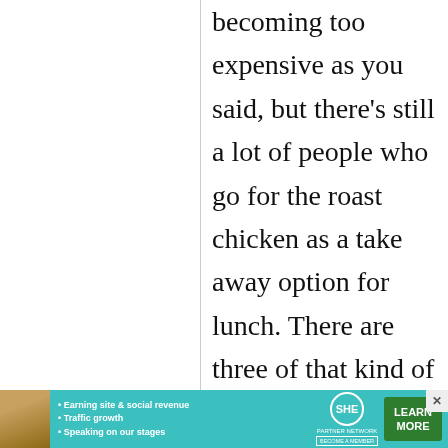becoming too expensive as you said, but there's still a lot of people who go for the roast chicken as a take away option for lunch. There are three of that kind of restaurant in my area and a
[Figure (other): Advertisement banner for SHE Partner Network featuring a woman's photo, bullet points about earning site and social revenue, traffic growth, speaking on our stages, the SHE Partner Network logo, and a Learn More button.]